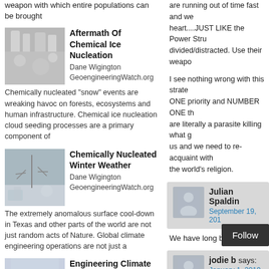weapon with which entire populations can be brought
[Figure (photo): Snow/ice covered branches - Aftermath of Chemical Ice Nucleation thumbnail]
Aftermath Of Chemical Ice Nucleation
Dane Wigington GeoengineeringWatch.org Chemically nucleated "snow" events are wreaking havoc on forests, ecosystems and human infrastructure. Chemical ice nucleation cloud seeding processes are a primary component of
[Figure (photo): Winter weather scene with bare trees - Chemically Nucleated Winter Weather thumbnail]
Chemically Nucleated Winter Weather
Dane Wigington GeoengineeringWatch.org The extremely anomalous surface cool-down in Texas and other parts of the world are not just random acts of Nature. Global climate engineering operations are not just a
[Figure (photo): Weather map with colorful radar - Engineering Climate Chaos thumbnail]
Engineering Climate Chaos
Dane Wigington GeoengineeringWatch.org
are running out of time fast and we... heart....JUST LIKE the Power Stru... divided/distracted. Use their weapo...
I see nothing wrong with this strate... ONE priority and NUMBER ONE th... are literally a parasite killing what g... us and we need to re-acquaint with... the world's religion.
We have long been past the...
Julian Spaldin... September 19, 201...
jodie b says: January 1, 2019 at...
Dear Jeff,
I wish there u...
Follow